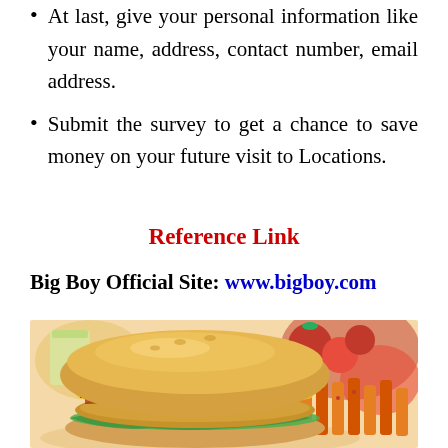At last, give your personal information like your name, address, contact number, email address.
Submit the survey to get a chance to save money on your future visit to Locations.
Reference Link
Big Boy Official Site: www.bigboy.com
[Figure (photo): A close-up photo of a burger sandwich with chicken patty, cheese, bacon, and lettuce on a bun, served with seasoned waffle fries, with tomatoes and drinks in the background.]